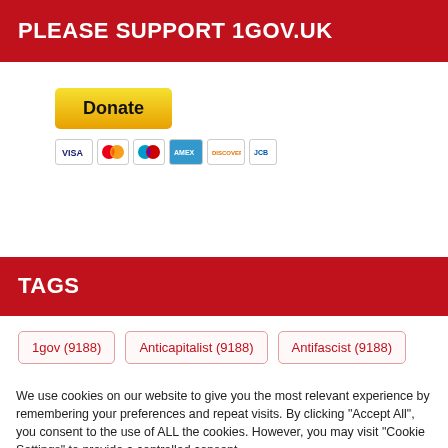PLEASE SUPPORT 1GOV.UK
[Figure (infographic): PayPal Donate button with payment card icons (Visa, Mastercard, Maestro, American Express, Discover, JCB)]
TAGS
1gov (9188)
Anticapitalist (9188)
Antifascist (9188)
We use cookies on our website to give you the most relevant experience by remembering your preferences and repeat visits. By clicking "Accept All", you consent to the use of ALL the cookies. However, you may visit "Cookie Settings" to provide a controlled consent.
Cookie Settings | Accept All